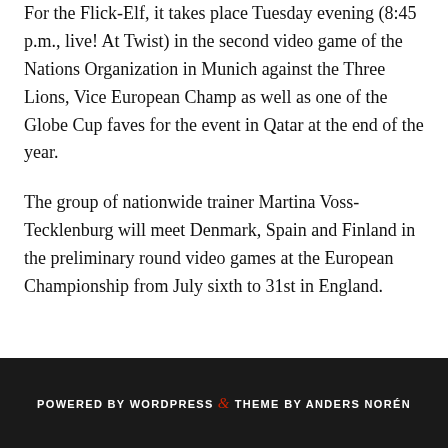For the Flick-Elf, it takes place Tuesday evening (8:45 p.m., live! At Twist) in the second video game of the Nations Organization in Munich against the Three Lions, Vice European Champ as well as one of the Globe Cup faves for the event in Qatar at the end of the year.
The group of nationwide trainer Martina Voss-Tecklenburg will meet Denmark, Spain and Finland in the preliminary round video games at the European Championship from July sixth to 31st in England.
POWERED BY WORDPRESS & THEME BY ANDERS NORÉN